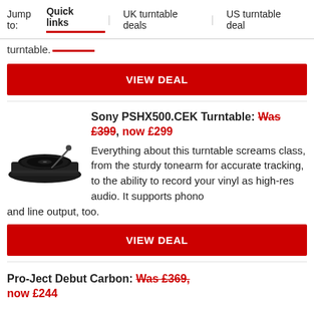Jump to: Quick links | UK turntable deals | US turntable deals
turntable.
VIEW DEAL
Sony PSHX500.CEK Turntable: Was £399, now £299
[Figure (photo): Sony PSHX500.CEK turntable - black record player viewed from above at slight angle]
Everything about this turntable screams class, from the sturdy tonearm for accurate tracking, to the ability to record your vinyl as high-res audio. It supports phono and line output, too.
VIEW DEAL
Pro-Ject Debut Carbon: Was £369, now £244